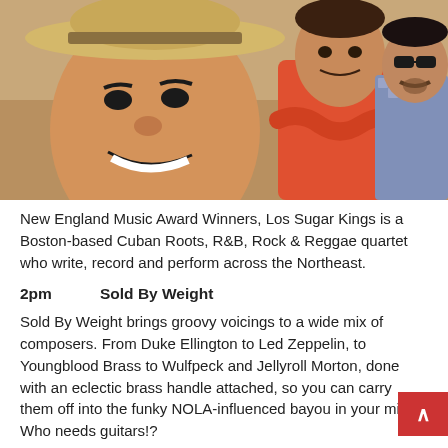[Figure (photo): Three men posing together outdoors. Left man is a selfie-taker wearing a straw hat with a big smile. Center man wears an orange/red shirt with arms crossed. Right man wears sunglasses and a blue checkered shirt.]
New England Music Award Winners, Los Sugar Kings is a Boston-based Cuban Roots, R&B, Rock & Reggae quartet who write, record and perform across the Northeast.
2pm    Sold By Weight
Sold By Weight brings groovy voicings to a wide mix of composers. From Duke Ellington to Led Zeppelin, to Youngblood Brass to Wulfpeck and Jellyroll Morton, done with an eclectic brass handle attached, so you can carry them off into the funky NOLA-influenced bayou in your mind. Who needs guitars!?
3pm    Old Jack